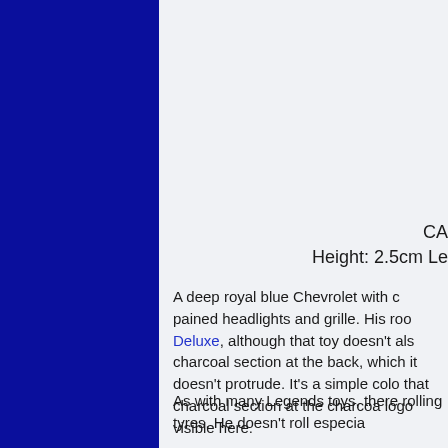[Figure (photo): Deep royal blue vertical panel on the left side of the page, representing a blue Chevrolet toy car image cropped to show mainly the blue body.]
CA
Height: 2.5cm Le
A deep royal blue Chevrolet with c pained headlights and grille. His roo Deluxe, although that toy doesn't als charcoal section at the back, which it doesn't protrude. It's a simple colo that charcoal section at the charcoa logo visible here.
As with many Legends toys, there rolling tyres. He doesn't roll especia